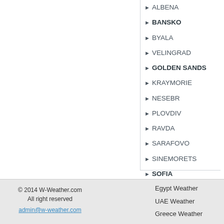▶ ALBENA
▶ BANSKO
▶ BYALA
▶ VELINGRAD
▶ GOLDEN SANDS
▶ KRAYMORIE
▶ NESEBR
▶ PLOVDIV
▶ RAVDA
▶ SARAFOVO
▶ SINEMORETS
▶ SOFIA
▶ CHERNOMORETS
© 2014 W-Weather.com All right reserved admin@w-weather.com Egypt Weather UAE Weather Greece Weather